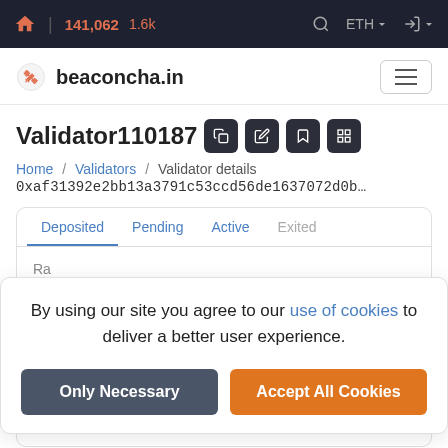141,062  1.6k  ETH
beaconcha.in
Validator110187
Home / Validators / Validator details
0xaf31392e2bb13a3791c53ccd56de1637072d0b…
Deposited  Pending  Active  Exited
By using our site you agree to our use of cookies to deliver a better user experience.
Only Necessary  Accept All Cookies
Effectiveness